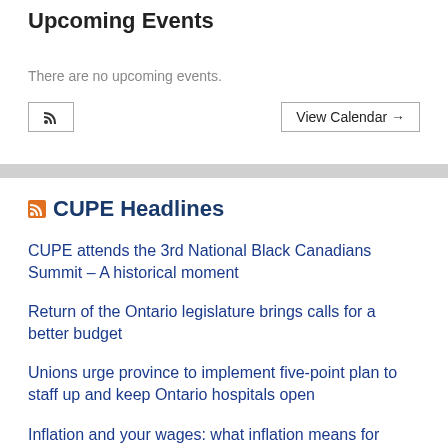Upcoming Events
There are no upcoming events.
CUPE Headlines
CUPE attends the 3rd National Black Canadians Summit – A historical moment
Return of the Ontario legislature brings calls for a better budget
Unions urge province to implement five-point plan to staff up and keep Ontario hospitals open
Inflation and your wages: what inflation means for workers and bargaining